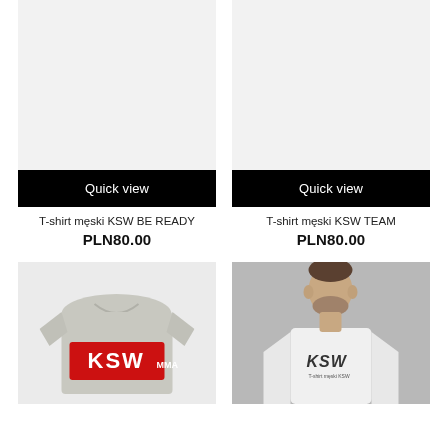[Figure (photo): Gray product image placeholder for T-shirt męski KSW BE READY]
Quick view
T-shirt męski KSW BE READY
PLN80.00
[Figure (photo): Gray product image placeholder for T-shirt męski KSW TEAM]
Quick view
T-shirt męski KSW TEAM
PLN80.00
[Figure (photo): Gray t-shirt with red KSW MMA logo box on front]
[Figure (photo): Man wearing white KSW t-shirt, standing against gray background]